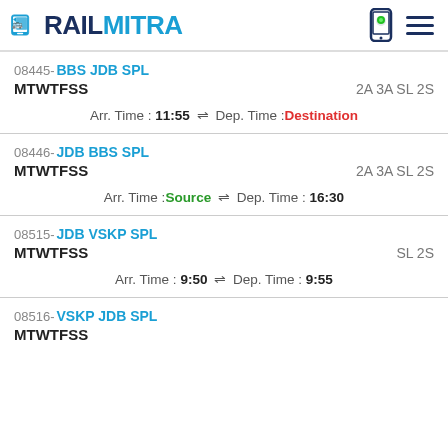RAILMITRA
08445-BBS JDB SPL | MTWTFSS | 2A 3A SL 2S | Arr. Time : 11:55 ⇌ Dep. Time : Destination
08446-JDB BBS SPL | MTWTFSS | 2A 3A SL 2S | Arr. Time : Source ⇌ Dep. Time : 16:30
08515-JDB VSKP SPL | MTWTFSS | SL 2S | Arr. Time : 9:50 ⇌ Dep. Time : 9:55
08516-VSKP JDB SPL | MTWTFSS